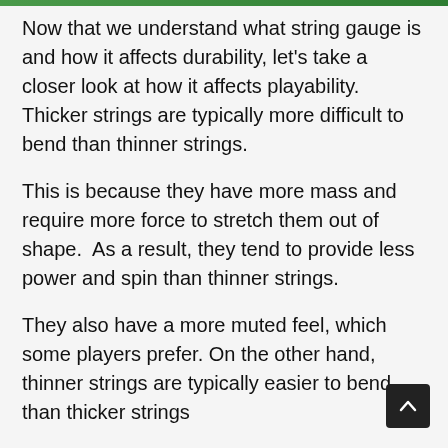Now that we understand what string gauge is and how it affects durability, let's take a closer look at how it affects playability. Thicker strings are typically more difficult to bend than thinner strings.
This is because they have more mass and require more force to stretch them out of shape.  As a result, they tend to provide less power and spin than thinner strings.
They also have a more muted feel, which some players prefer. On the other hand, thinner strings are typically easier to bend than thicker strings